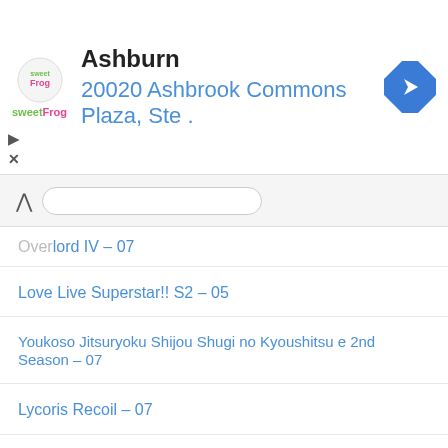[Figure (other): sweetFrog advertisement banner with logo, location name 'Ashburn', address '20020 Ashbrook Commons Plaza, Ste .', and navigation arrow icon]
Overlord IV – 07
Love Live Superstar!! S2 – 05
Youkoso Jitsuryoku Shijou Shugi no Kyoushitsu e 2nd Season – 07
Lycoris Recoil – 07
Utawarerumono Futari no Hakuoro – 08
Engage Kiss – 07
Summertime Render – 18
Yofukashi no Uta – 06
Made in Abyss S2 – 06